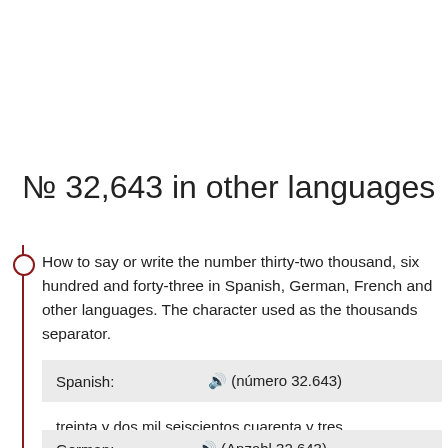№ 32,643 in other languages
How to say or write the number thirty-two thousand, six hundred and forty-three in Spanish, German, French and other languages. The character used as the thousands separator.
| Spanish: | 🔊 (número 32.643) |
| --- | --- |
treinta y dos mil seiscientos cuarenta y tres
| German: | 🔊 (Anzahl 32.643) |
| --- | --- |